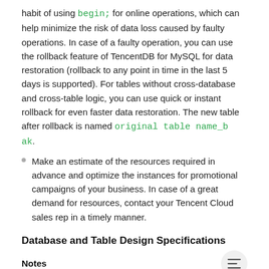habit of using begin; for online operations, which can help minimize the risk of data loss caused by faulty operations. In case of a faulty operation, you can use the rollback feature of TencentDB for MySQL for data restoration (rollback to any point in time in the last 5 days is supported). For tables without cross-database and cross-table logic, you can use quick or instant rollback for even faster data restoration. The new table after rollback is named original table name_bak.
Make an estimate of the resources required in advance and optimize the instances for promotional campaigns of your business. In case of a great demand for resources, contact your Tencent Cloud sales rep in a timely manner.
Database and Table Design Specifications
Notes
Do not use MyISAM or MEMORY in MySQL v5.6 or higher as